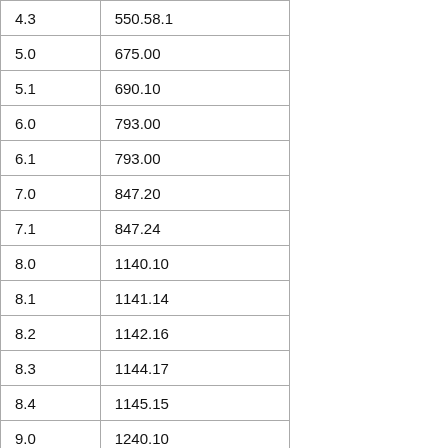| 4.3 | 550.58.1 |
| 5.0 | 675.00 |
| 5.1 | 690.10 |
| 6.0 | 793.00 |
| 6.1 | 793.00 |
| 7.0 | 847.20 |
| 7.1 | 847.24 |
| 8.0 | 1140.10 |
| 8.1 | 1141.14 |
| 8.2 | 1142.16 |
| 8.3 | 1144.17 |
| 8.4 | 1145.15 |
| 9.0 | 1240.10 |
| 9.1 | 1241.11 |
| 9.2 | 1242.13 |
| 9.3 | 1280.38 |
|  |  |